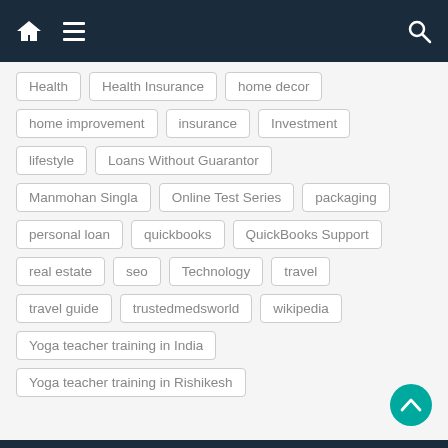Navigation bar with home, menu, and search icons
Health
Health Insurance
home decor
home improvement
insurance
Investment
lifestyle
Loans Without Guarantor
Manmohan Singla
Online Test Series
packaging
personal loan
quickbooks
QuickBooks Support
real estate
seo
Technology
travel
travel guide
trustedmedsworld
wikipedia
Yoga teacher training in India
Yoga teacher training in Rishikesh